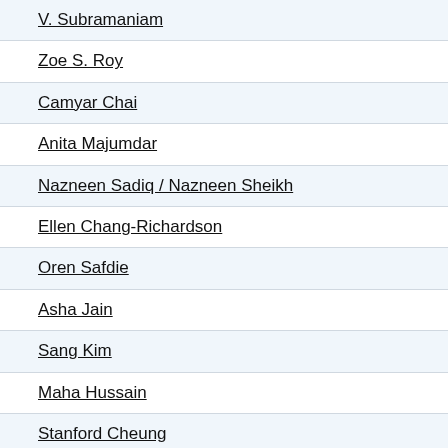V. Subramaniam
Zoe S. Roy
Camyar Chai
Anita Majumdar
Nazneen Sadiq / Nazneen Sheikh
Ellen Chang-Richardson
Oren Safdie
Asha Jain
Sang Kim
Maha Hussain
Stanford Cheung